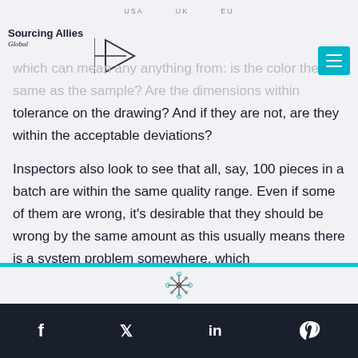USA   UK   EU
[Figure (logo): Sourcing Allies Global logo with triangle/flag icon]
which can mean any anything from: is the color the same as the sample? Are the dimensions within tolerance on the drawing? And if they are not, are they within the acceptable deviations?
Inspectors also look to see that all, say, 100 pieces in a batch are within the same quality range. Even if some of them are wrong, it's desirable that they should be wrong by the same amount as this usually means there is a system problem somewhere, which
[Figure (illustration): Snowflake/virus decorative icon]
Social icons: Facebook, Twitter, LinkedIn, WhatsApp